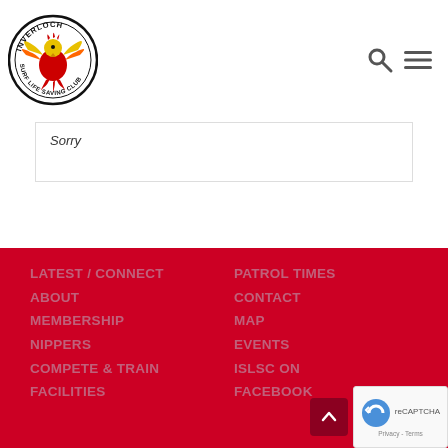[Figure (logo): Inverloch Surf Life Saving Club circular logo with a phoenix bird in red, yellow and gold colors]
[Figure (other): Search icon (magnifying glass) and hamburger menu icon in dark gray]
Sorry
LATEST / CONNECT
ABOUT
MEMBERSHIP
NIPPERS
COMPETE & TRAIN
FACILITIES
PATROL TIMES
CONTACT
MAP
EVENTS
ISLSC ON
FACEBOOK